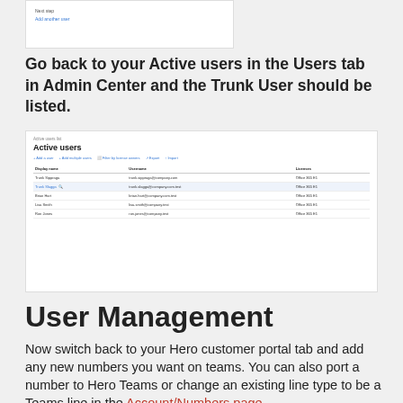[Figure (screenshot): Small screenshot showing a form with 'Next step' text and a blue 'Add another user' link]
Go back to your Active users in the Users tab in Admin Center and the Trunk User should be listed.
[Figure (screenshot): Screenshot of Microsoft Admin Center Active users page showing a table with columns for Display name, Username, and Licenses. Rows include Trunk Sippraga, Trunk Slagga (highlighted), Brian Hart, Lisa Smith, and Ron Jones.]
User Management
Now switch back to your Hero customer portal tab and add any new numbers you want on teams. You can also port a number to Hero Teams or change an existing line type to be a Teams line in the Account/Numbers page.